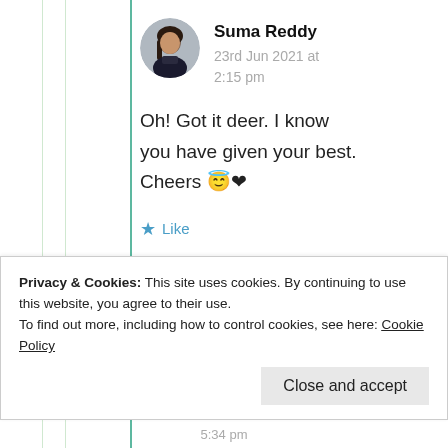[Figure (illustration): Circular avatar photo of a woman with dark hair]
Suma Reddy
23rd Jun 2021 at 2:15 pm
Oh! Got it deer. I know you have given your best. Cheers 😇❤
★ Like
Privacy & Cookies: This site uses cookies. By continuing to use this website, you agree to their use.
To find out more, including how to control cookies, see here: Cookie Policy
Close and accept
5:34 pm